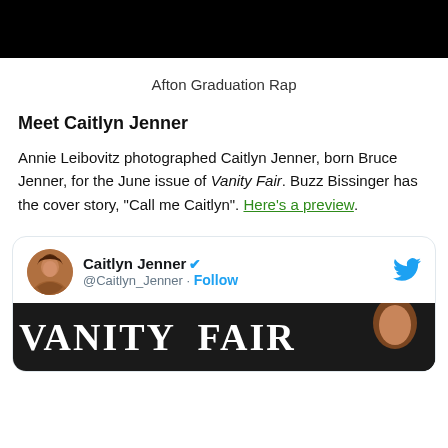[Figure (photo): Black rectangle image bar at top of page]
Afton Graduation Rap
Meet Caitlyn Jenner
Annie Leibovitz photographed Caitlyn Jenner, born Bruce Jenner, for the June issue of Vanity Fair. Buzz Bissinger has the cover story, “Call me Caitlyn”. Here’s a preview.
[Figure (screenshot): Embedded tweet from Caitlyn Jenner (@Caitlyn_Jenner) with verified badge, Follow button, Twitter bird logo, and a Vanity Fair magazine cover image strip at the bottom showing bold serif text and brown hair]